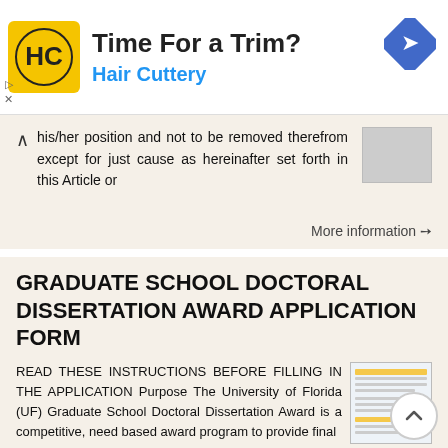[Figure (infographic): Advertisement banner for Hair Cuttery salon with logo, 'Time For a Trim?' headline, blue subtitle 'Hair Cuttery', and a navigation arrow icon on the right]
his/her position and not to be removed therefrom except for just cause as hereinafter set forth in this Article or
More information →
GRADUATE SCHOOL DOCTORAL DISSERTATION AWARD APPLICATION FORM
READ THESE INSTRUCTIONS BEFORE FILLING IN THE APPLICATION Purpose The University of Florida (UF) Graduate School Doctoral Dissertation Award is a competitive, need based award program to provide final